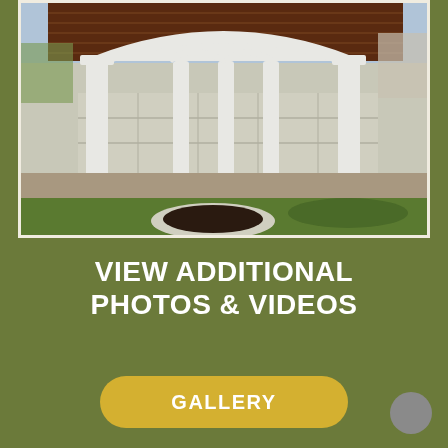[Figure (photo): Outdoor pavilion with white arched columns, wooden ceiling, stone block retaining wall, paver patio, and a circular fire pit with stone surround on green grass.]
VIEW ADDITIONAL PHOTOS & VIDEOS
GALLERY